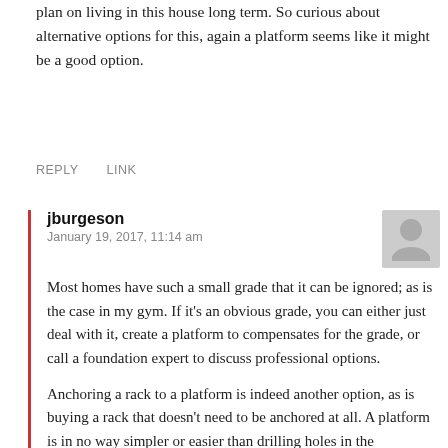plan on living in this house long term. So curious about alternative options for this, again a platform seems like it might be a good option.
REPLY    LINK
jburgeson
January 19, 2017, 11:14 am
Most homes have such a small grade that it can be ignored; as is the case in my gym. If it's an obvious grade, you can either just deal with it, create a platform to compensates for the grade, or call a foundation expert to discuss professional options.
Anchoring a rack to a platform is indeed another option, as is buying a rack that doesn't need to be anchored at all. A platform is in no way simpler or easier than drilling holes in the foundation and then filling them again when you leave though; that is assuming you are permitted to do so (as in, not renting.)